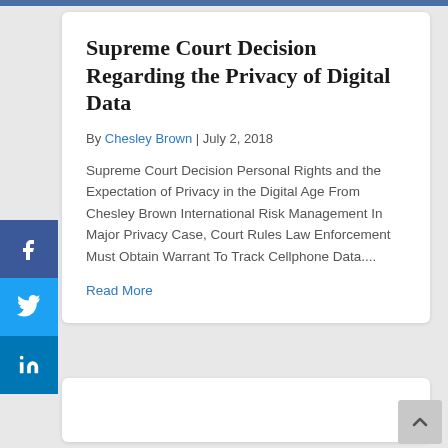Supreme Court Decision Regarding the Privacy of Digital Data
By Chesley Brown | July 2, 2018
Supreme Court Decision Personal Rights and the Expectation of Privacy in the Digital Age From Chesley Brown International Risk Management In Major Privacy Case, Court Rules Law Enforcement Must Obtain Warrant To Track Cellphone Data....
Read More
[Figure (other): Facebook share button (dark blue with Facebook logo)]
[Figure (other): Twitter share button (blue with Twitter bird logo)]
[Figure (other): LinkedIn share button (blue with LinkedIn logo)]